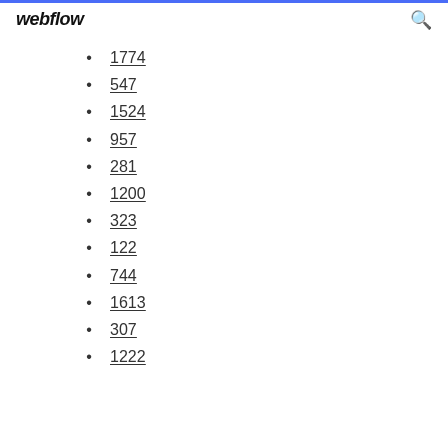webflow
1774
547
1524
957
281
1200
323
122
744
1613
307
1222